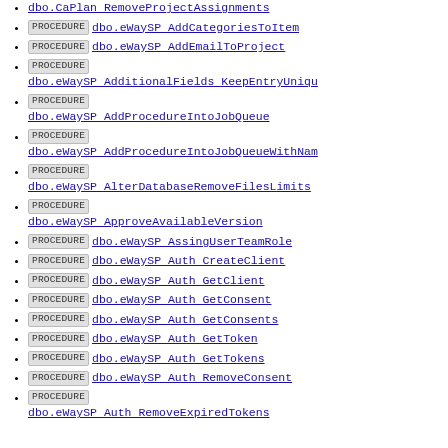PROCEDURE dbo.CaPlan RemoveProjectAssignments
PROCEDURE dbo.eWaySP AddCategoriesToItem
PROCEDURE dbo.eWaySP AddEmailToProject
PROCEDURE dbo.eWaySP AdditionalFields KeepEntryUniqu
PROCEDURE dbo.eWaySP AddProcedureIntoJobQueue
PROCEDURE dbo.eWaySP AddProcedureIntoJobQueueWithNam
PROCEDURE dbo.eWaySP AlterDatabaseRemoveFilesLimits
PROCEDURE dbo.eWaySP ApproveAvailableVersion
PROCEDURE dbo.eWaySP AssingUserTeamRole
PROCEDURE dbo.eWaySP Auth CreateClient
PROCEDURE dbo.eWaySP Auth GetClient
PROCEDURE dbo.eWaySP Auth GetConsent
PROCEDURE dbo.eWaySP Auth GetConsents
PROCEDURE dbo.eWaySP Auth GetToken
PROCEDURE dbo.eWaySP Auth GetTokens
PROCEDURE dbo.eWaySP Auth RemoveConsent
PROCEDURE dbo.eWaySP Auth RemoveExpiredTokens